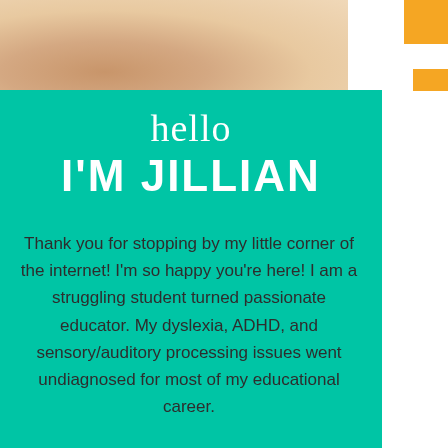[Figure (photo): Photo of a person's hands/torso in warm tones, cropped at the top of the page]
hello
I'M JILLIAN
Thank you for stopping by my little corner of the internet! I'm so happy you're here! I am a struggling student turned passionate educator. My dyslexia, ADHD, and sensory/auditory processing issues went undiagnosed for most of my educational career.